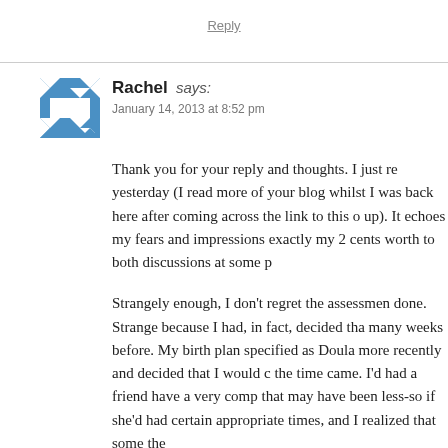Reply
Rachel says:
January 14, 2013 at 8:52 pm
Thank you for your reply and thoughts. I just re yesterday (I read more of your blog whilst I was back here after coming across the link to this o up). It echoes my fears and impressions exactly my 2 cents worth to both discussions at some p
Strangely enough, I don't regret the assessmen done. Strange because I had, in fact, decided tha many weeks before. My birth plan specified as Doula more recently and decided that I would c the time came. I'd had a friend have a very comp that may have been less-so if she'd had certain appropriate times, and I realized that some the